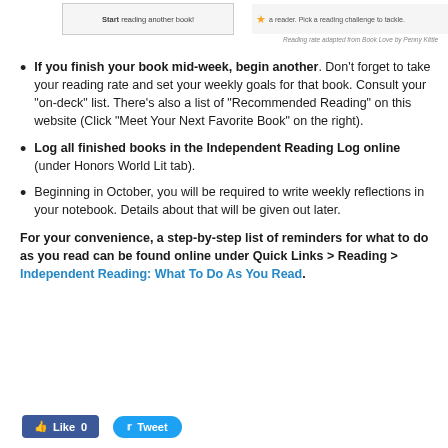[Figure (screenshot): Top portion showing two boxes: left box with 'Start reading another book!' text, right box with star icon and 'a reader. Pick a reading challenge to tackle.' text]
Reading rate adapted from Book Love by Penny Kittle
If you finish your book mid-week, begin another. Don't forget to take your reading rate and set your weekly goals for that book. Consult your “on-deck” list. There’s also a list of “Recommended Reading” on this website (Click “Meet Your Next Favorite Book” on the right).
Log all finished books in the Independent Reading Log online (under Honors World Lit tab).
Beginning in October, you will be required to write weekly reflections in your notebook. Details about that will be given out later.
For your convenience, a step-by-step list of reminders for what to do as you read can be found online under Quick Links > Reading > Independent Reading: What To Do As You Read.
[Figure (screenshot): Social media buttons: blue Like 0 button and blue Tweet button]